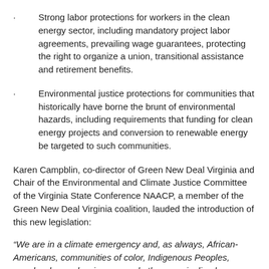Strong labor protections for workers in the clean energy sector, including mandatory project labor agreements, prevailing wage guarantees, protecting the right to organize a union, transitional assistance and retirement benefits.
Environmental justice protections for communities that historically have borne the brunt of environmental hazards, including requirements that funding for clean energy projects and conversion to renewable energy be targeted to such communities.
Karen Campblin, co-director of Green New Deal Virginia and Chair of the Environmental and Climate Justice Committee of the Virginia State Conference NAACP, a member of the Green New Deal Virginia coalition, lauded the introduction of this new legislation:
“We are in a climate emergency and, as always, African-Americans, communities of color, Indigenous Peoples, people who are low income and other marginalized communities are on the front lines. Virginia now has a chance to act boldly by supporting working